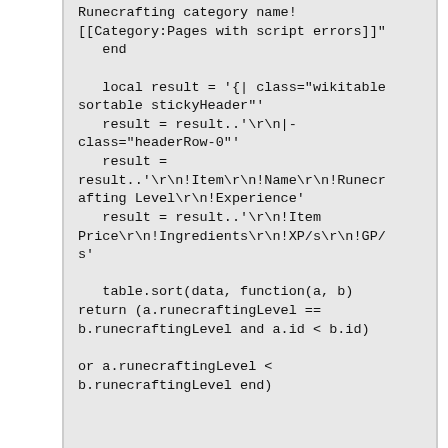Runecrafting category name!
[[Category:Pages with script errors]]"
   end

   local result = '{| class="wikitable sortable stickyHeader"'
   result = result..'
|-class="headerRow-0"'
   result =
result..'
!Item
!Name
!Runecrafting Level
!Experience'
   result = result..'
!Item Price
!Ingredients
!XP/s
!GP/s'

   table.sort(data, function(a, b)
return (a.runecraftingLevel ==
b.runecraftingLevel and a.id < b.id)

or a.runecraftingLevel <
b.runecraftingLevel end)